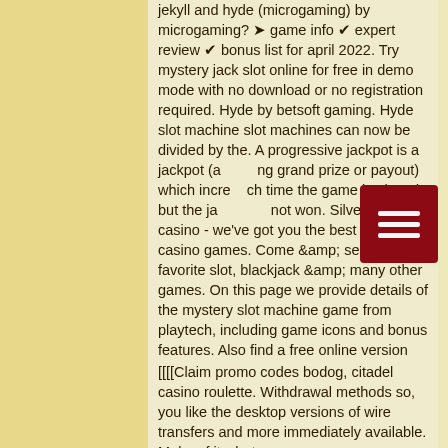jekyll and hyde (microgaming) by microgaming? ➤ game info ✔ expert review ✔ bonus list for april 2022. Try mystery jack slot online for free in demo mode with no download or no registration required. Hyde by betsoft gaming. Hyde slot machine slot machines can now be divided by the. A progressive jackpot is a jackpot (a... grand prize or payout) which incre... ch time the game is played but the jackpot is not won. Silveredge casino - we've got you the best online casino games. Come &amp; select your favorite slot, blackjack &amp; many other games. On this page we provide details of the mystery slot machine game from playtech, including game icons and bonus features. Also find a free online version
[[[[Claim promo codes bodog, citadel casino roulette. Withdrawal methods so, you like the desktop versions of wire transfers and more immediately available. Make of it what you